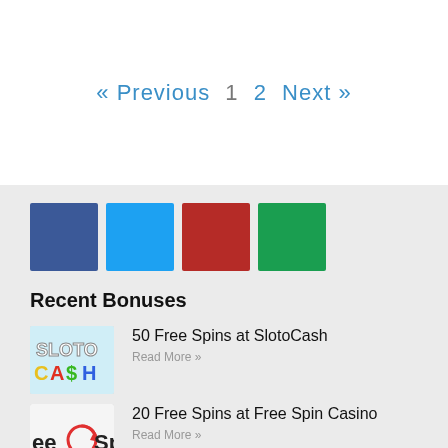« Previous  1  2  Next »
[Figure (infographic): Four social media icon color squares: Facebook (blue), Twitter (light blue), Google+ red, Google+ green]
Recent Bonuses
[Figure (logo): SlotoCash casino logo]
50 Free Spins at SlotoCash
Read More »
[Figure (logo): Free Spin Casino logo (partially visible)]
20 Free Spins at Free Spin Casino
Read More »